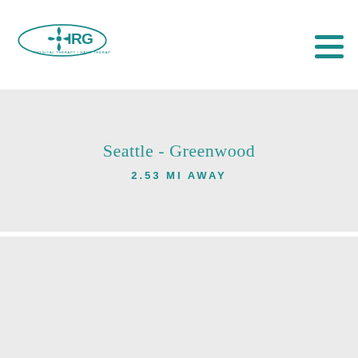[Figure (logo): IRG Physical Therapy | Hand Therapy logo with teal windmill/compass icon and oval outline, with tagline 'PHYSICAL THERAPY | HAND THERAPY']
[Figure (other): Hamburger menu icon - three teal horizontal lines]
Seattle - Greenwood
2.53 MI AWAY
[Figure (other): Light gray empty card section]